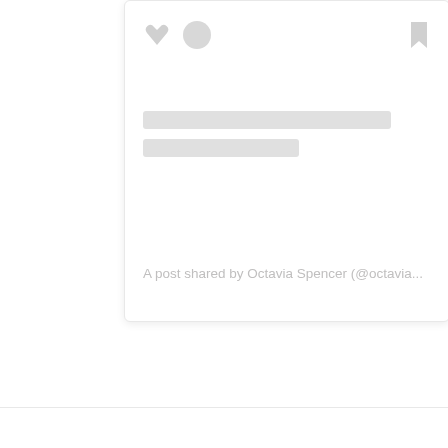[Figure (screenshot): A social media post card (Instagram-style embed) showing: two icons on the top left (a heart/like icon and a circle/profile icon), a bookmark icon on the top right, two gray placeholder content lines in the middle, and a caption text at the bottom reading 'A post shared by Octavia Spencer (@octavia...'. The card has a white background with light border and shadow. Below the card is a horizontal divider line.]
A post shared by Octavia Spencer (@octavia...